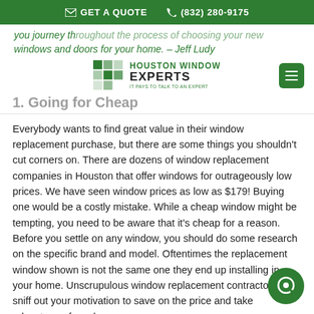GET A QUOTE   (832) 280-9175
you journey th... new windows and doors for your home. – Jeff Ludy
[Figure (logo): Houston Window Experts logo with green mosaic icon and text]
1. Going for Cheap
Everybody wants to find great value in their window replacement purchase, but there are some things you shouldn't cut corners on. There are dozens of window replacement companies in Houston that offer windows for outrageously low prices. We have seen window prices as low as $179! Buying one would be a costly mistake. While a cheap window might be tempting, you need to be aware that it's cheap for a reason. Before you settle on any window, you should do some research on the specific brand and model. Oftentimes the replacement window shown is not the same one they end up installing in your home. Unscrupulous window replacement contractors will sniff out your motivation to save on the price and take advantage of you by